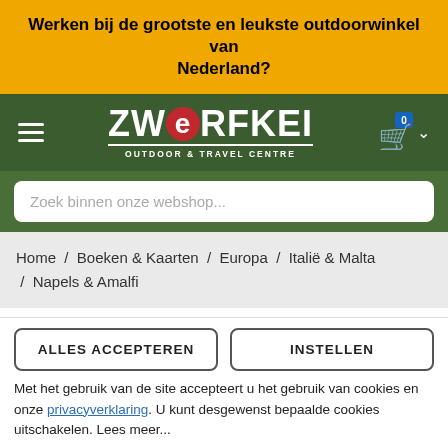Werken bij de grootste en leukste outdoorwinkel van Nederland?
[Figure (logo): Zwerfkei Outdoor & Travel Centre logo with green background, hamburger menu icon, cart with badge showing 0]
Zoek binnen onze webshop...
Home / Boeken & Kaarten / Europa / Italië & Malta / Napels & Amalfi
INSIGHT GUIDES
ALLES ACCEPTEREN
INSTELLEN
Met het gebruik van de site accepteert u het gebruik van cookies en onze privacyverklaring. U kunt desgewenst bepaalde cookies uitschakelen. Lees meer...